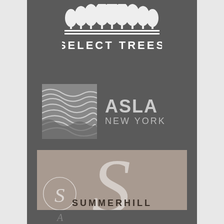[Figure (logo): Select Trees logo: stylized row of trees above two horizontal lines with text SELECT TREES in white on dark background]
[Figure (logo): ASLA New York logo: square icon with diagonal wave/terrain lines pattern beside bold text ASLA NEW YORK in light gray]
[Figure (logo): Summerhill Landscapes logo: taupe/beige square background with large italic S in white, circular S motif, and text SUMMERHILL LANDSCAPES in dark spaced lettering]